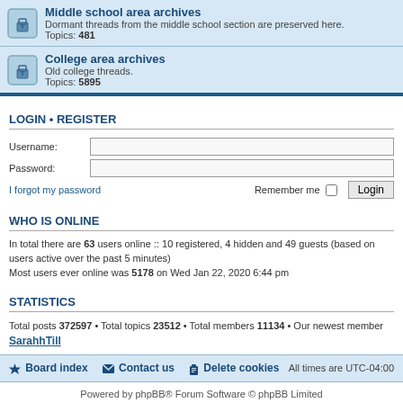Middle school area archives — Dormant threads from the middle school section are preserved here. Topics: 481
College area archives — Old college threads. Topics: 5895
LOGIN • REGISTER
Username:
Password:
I forgot my password
Remember me  Login
WHO IS ONLINE
In total there are 63 users online :: 10 registered, 4 hidden and 49 guests (based on users active over the past 5 minutes)
Most users ever online was 5178 on Wed Jan 22, 2020 6:44 pm
STATISTICS
Total posts 372597 • Total topics 23512 • Total members 11134 • Our newest member SarahhTill
Board index  Contact us  Delete cookies  All times are UTC-04:00
Powered by phpBB® Forum Software © phpBB Limited
Privacy | Terms